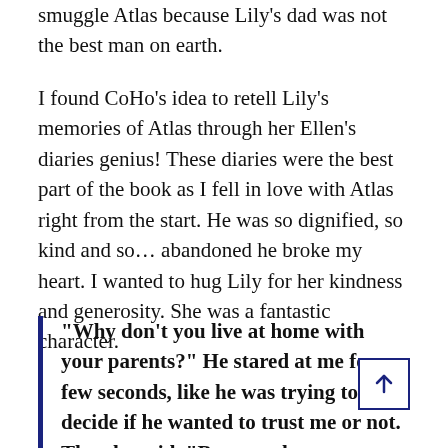smuggle Atlas because Lily's dad was not the best man on earth.
I found CoHo's idea to retell Lily's memories of Atlas through her Ellen's diaries genius! These diaries were the best part of the book as I fell in love with Atlas right from the start. He was so dignified, so kind and so… abandoned he broke my heart. I wanted to hug Lily for her kindness and generosity. She was a fantastic character.
“Why don’t you live at home with your parents?” He stared at me for a few seconds, like he was trying to decide if he wanted to trust me or not. Then he said, “Because they don’t want me.”